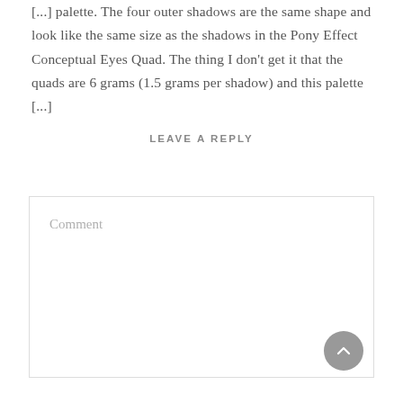[...] palette. The four outer shadows are the same shape and look like the same size as the shadows in the Pony Effect Conceptual Eyes Quad. The thing I don't get it that the quads are 6 grams (1.5 grams per shadow) and this palette [...]
LEAVE A REPLY
Comment